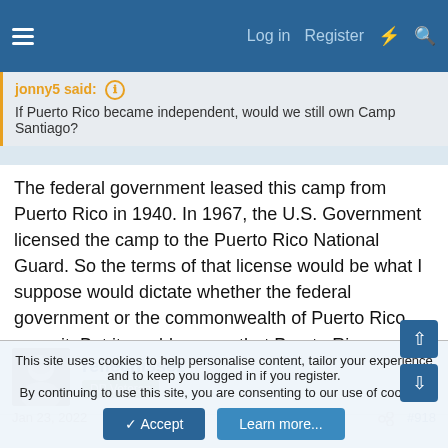Log in  Register
jonny5 said: ⓘ
If Puerto Rico became independent, would we still own Camp Santiago?
The federal government leased this camp from Puerto Rico in 1940. In 1967, the U.S. Government licensed the camp to the Puerto Rico National Guard. So the terms of that license would be what I suppose would dictate whether the federal government or the commonwealth of Puerto Rico owns it. But it would appear that Puerto Rico may have a rightful claim to it. But I don't know for sure.
reflechissez
DP Veteran
Jan 23, 2022  #918
This site uses cookies to help personalise content, tailor your experience and to keep you logged in if you register.
By continuing to use this site, you are consenting to our use of cookies.
✓ Accept   Learn more...